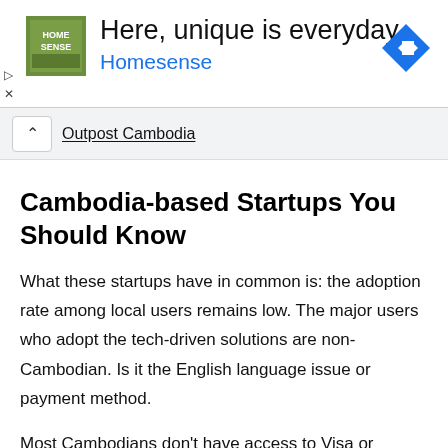[Figure (screenshot): Homesense advertisement banner with logo, headline 'Here, unique is everyday.', brand name 'Homesense', and a blue diamond navigation arrow icon]
Outpost Cambodia
Cambodia-based Startups You Should Know
What these startups have in common is: the adoption rate among local users remains low. The major users who adopt the tech-driven solutions are non-Cambodian. Is it the English language issue or payment method.
Most Cambodians don't have access to Visa or Master card, not to mention Paypal or standard payment option.